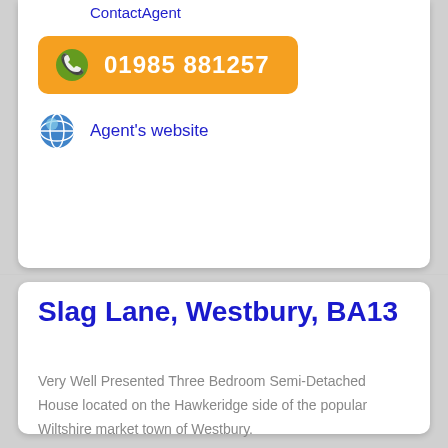ContactAgent
01985 881257
Agent's website
Slag Lane, Westbury, BA13
Very Well Presented Three Bedroom Semi-Detached House located on the Hawkeridge side of the popular Wiltshire market town of Westbury.
Semi-Detached House
3 Bedrooms